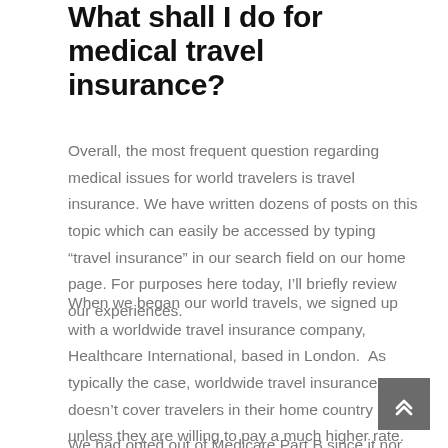What shall I do for medical travel insurance?
Overall, the most frequent question regarding medical issues for world travelers is travel insurance. We have written dozens of posts on this topic which can easily be accessed by typing “travel insurance” in our search field on our home page. For purposes here today, I’ll briefly review our experiences.
When we began our world travels, we signed up with a worldwide travel insurance company, Healthcare International, based in London.  As typically the case, worldwide travel insurance doesn’t cover travelers in their home country unless they are willing to pay a much higher rate.
We had opted out of Medicare Part B since it nor its